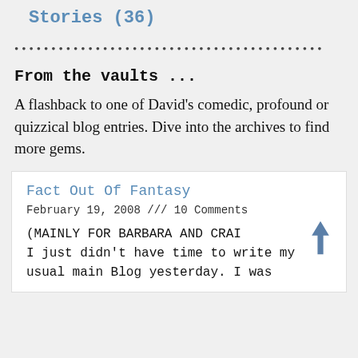Stories (36)
From the vaults ...
A flashback to one of David's comedic, profound or quizzical blog entries. Dive into the archives to find more gems.
Fact Out Of Fantasy
February 19, 2008 /// 10 Comments
(MAINLY FOR BARBARA AND CRAI I just didn't have time to write my usual main Blog yesterday. I was